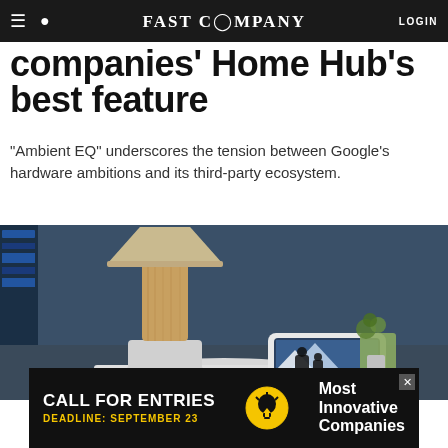FAST COMPANY  LOGIN
companies' Home Hub's best feature
"Ambient EQ" underscores the tension between Google's hardware ambitions and its third-party ecosystem.
[Figure (photo): A lamp with a wooden cylindrical base and white shade sitting on a round white table, next to a Google Nest Hub smart display showing a family photo, with a small plant in the background. Dark blue ambient lighting in the background.]
[Figure (infographic): Advertisement banner: CALL FOR ENTRIES, DEADLINE: SEPTEMBER 23, with a lightbulb icon, and text: Most Innovative Companies]